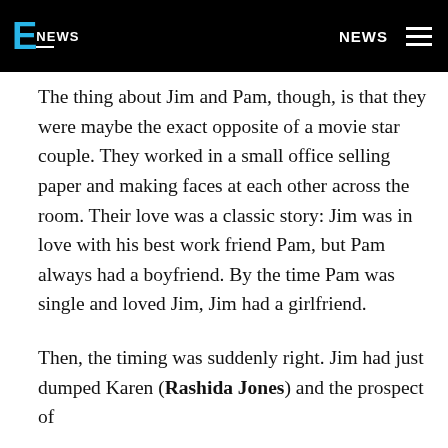E NEWS | NEWS
The thing about Jim and Pam, though, is that they were maybe the exact opposite of a movie star couple. They worked in a small office selling paper and making faces at each other across the room. Their love was a classic story: Jim was in love with his best work friend Pam, but Pam always had a boyfriend. By the time Pam was single and loved Jim, Jim had a girlfriend.
Then, the timing was suddenly right. Jim had just dumped Karen (Rashida Jones) and the prospect of